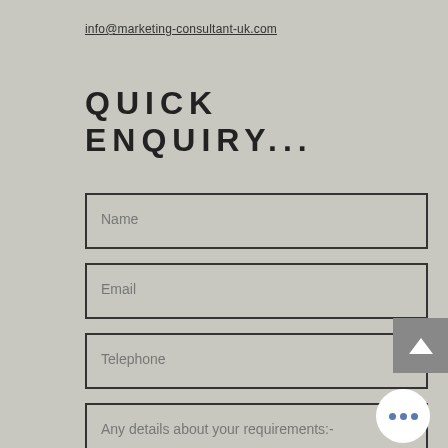info@marketing-consultant-uk.com
QUICK ENQUIRY...
Name
Email
Telephone
Any details about your requirements:-